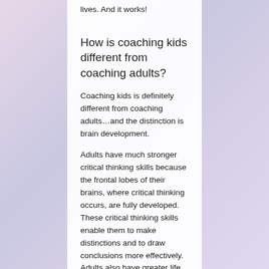lives.  And it works!
How is coaching kids different from coaching adults?
Coaching kids is definitely different from coaching adults…and the distinction is brain development.
Adults have much stronger critical thinking skills because the frontal lobes of their brains, where critical thinking occurs, are fully developed. These critical thinking skills enable them to make distinctions and to draw conclusions more effectively. Adults also have greater life experience from which to draw upon. That is why life coaches for adults use questions as